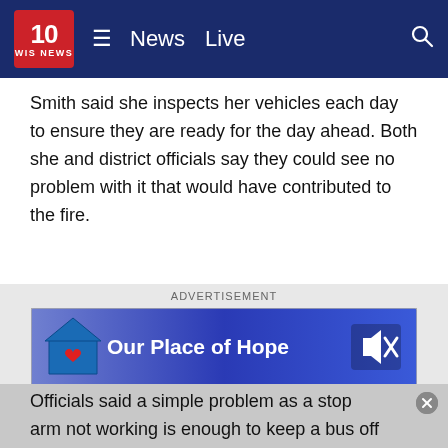10 WIS NEWS  ≡  News  Live  🔍
Smith said she inspects her vehicles each day to ensure they are ready for the day ahead. Both she and district officials say they could see no problem with it that would have contributed to the fire.
[Figure (screenshot): Advertisement banner for 'Our Place of Hope' with blue gradient background, house/heart logo on left and mute icon on right]
State officials told WIS assessment for school buses happen numerous times throughout the course of the year. In some cases, they come on a daily basis.
Officials said a simple problem as a stop arm not working is enough to keep a bus off of the road.